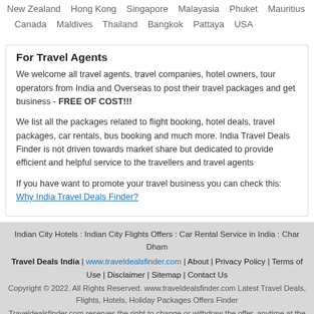New Zealand   Hong Kong   Singapore   Malayasia   Phuket   Mauritius   Canada   Maldives   Thailand   Bangkok   Pattaya   USA
For Travel Agents
We welcome all travel agents, travel companies, hotel owners, tour operators from India and Overseas to post their travel packages and get business - FREE OF COST!!!
We list all the packages related to flight booking, hotel deals, travel packages, car rentals, bus booking and much more. India Travel Deals Finder is not driven towards market share but dedicated to provide efficient and helpful service to the travellers and travel agents
If you have want to promote your travel business you can check this: Why India Travel Deals Finder?
Indian City Hotels : Indian City Flights Offers : Car Rental Service in India : Char Dham
Travel Deals India | www.traveldealsfinder.com | About | Privacy Policy | Terms of Use | Disclaimer | Sitemap | Contact Us
Copyright © 2022. All Rights Reserved. www.traveldealsfinder.com Latest Travel Deals, Flights, Hotels, Holiday Packages Offers Finder
Traveldealsfinder.com reserves the right to change or withdraw the offer, anytime at the sole discretion of the Management. All the offer listed in this website are